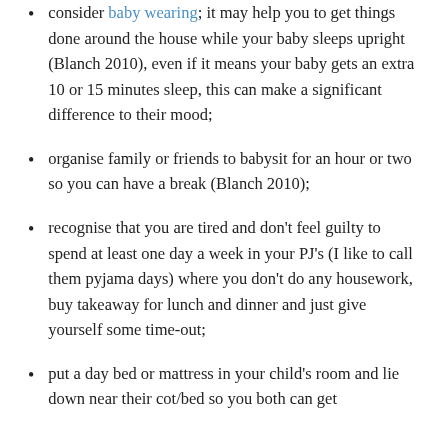consider baby wearing; it may help you to get things done around the house while your baby sleeps upright (Blanch 2010), even if it means your baby gets an extra 10 or 15 minutes sleep, this can make a significant difference to their mood;
organise family or friends to babysit for an hour or two so you can have a break (Blanch 2010);
recognise that you are tired and don't feel guilty to spend at least one day a week in your PJ's (I like to call them pyjama days) where you don't do any housework, buy takeaway for lunch and dinner and just give yourself some time-out;
put a day bed or mattress in your child's room and lie down near their cot/bed so you both can get